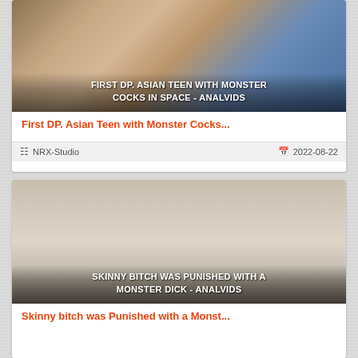[Figure (photo): Thumbnail image for adult video with text overlay: FIRST DP. ASIAN TEEN WITH MONSTER COCKS IN SPACE - ANALVIDS]
First DP. Asian Teen with Monster Cocks...
NRX-Studio    2022-08-22
[Figure (photo): Thumbnail image for adult video with text overlay: SKINNY BITCH WAS PUNISHED WITH A MONSTER DICK - ANALVIDS]
Skinny bitch was Punished with a Monst...